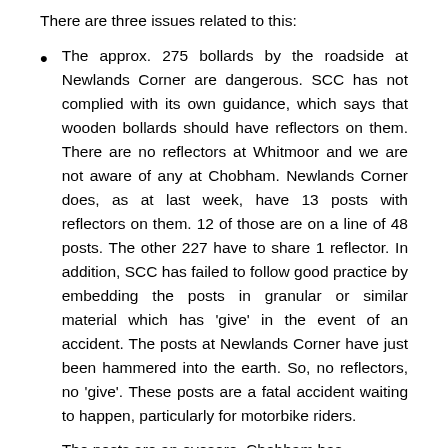There are three issues related to this:
The approx. 275 bollards by the roadside at Newlands Corner are dangerous. SCC has not complied with its own guidance, which says that wooden bollards should have reflectors on them. There are no reflectors at Whitmoor and we are not aware of any at Chobham. Newlands Corner does, as at last week, have 13 posts with reflectors on them. 12 of those are on a line of 48 posts. The other 227 have to share 1 reflector. In addition, SCC has failed to follow good practice by embedding the posts in granular or similar material which has 'give' in the event of an accident. The posts at Newlands Corner have just been hammered into the earth. So, no reflectors, no 'give'. These posts are a fatal accident waiting to happen, particularly for motorbike riders.
The posts are an eyesore. Chobham has